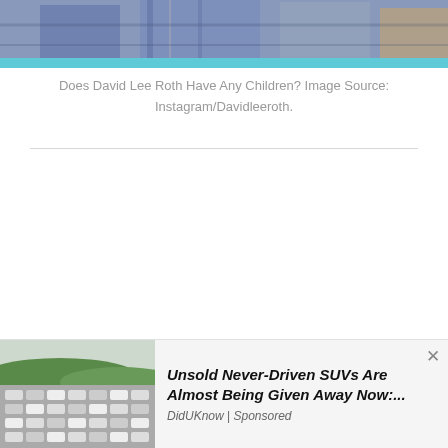[Figure (photo): Partial photo of a person, cropped at top of page with cyan bar below]
Does David Lee Roth Have Any Children? Image Source: Instagram/Davidleeroth.
[Figure (photo): Advertisement banner showing a large lot filled with unsold SUVs and trucks on a field with hills in the background. Ad title: Unsold Never-Driven SUVs Are Almost Being Given Away Now:... Source: DidUKnow | Sponsored]